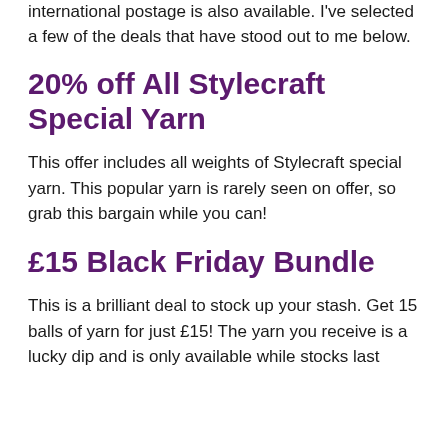international postage is also available. I've selected a few of the deals that have stood out to me below.
20% off All Stylecraft Special Yarn
This offer includes all weights of Stylecraft special yarn. This popular yarn is rarely seen on offer, so grab this bargain while you can!
£15 Black Friday Bundle
This is a brilliant deal to stock up your stash. Get 15 balls of yarn for just £15! The yarn you receive is a lucky dip and is only available while stocks last